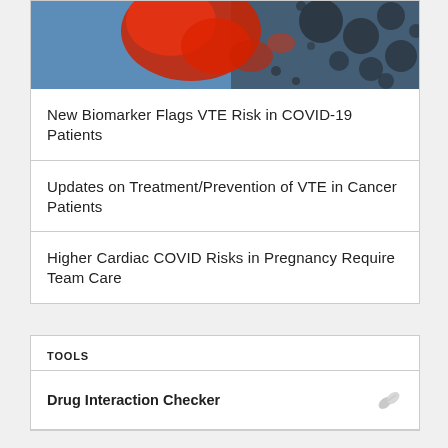[Figure (photo): Close-up scientific/medical image of red and dark virus or cell particles on a blue-grey background]
New Biomarker Flags VTE Risk in COVID-19 Patients
Updates on Treatment/Prevention of VTE in Cancer Patients
Higher Cardiac COVID Risks in Pregnancy Require Team Care
TOOLS
Drug Interaction Checker